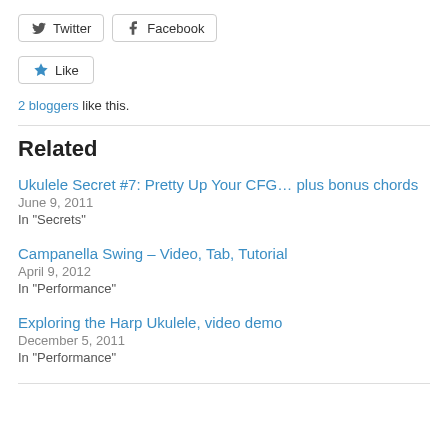[Figure (other): Twitter and Facebook share buttons]
[Figure (other): Like button with star icon]
2 bloggers like this.
Related
Ukulele Secret #7: Pretty Up Your CFG… plus bonus chords
June 9, 2011
In "Secrets"
Campanella Swing – Video, Tab, Tutorial
April 9, 2012
In "Performance"
Exploring the Harp Ukulele, video demo
December 5, 2011
In "Performance"